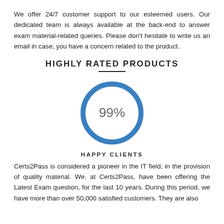We offer 24/7 customer support to our esteemed users. Our dedicated team is always available at the back-end to answer exam material-related queries. Please don't hesitate to write us an email in case, you have a concern related to the product.
HIGHLY RATED PRODUCTS
[Figure (donut-chart): Donut/ring chart showing 99% happy clients in blue]
HAPPY CLIENTS
Certs2Pass is considered a pioneer in the IT field, in the provision of quality material. We, at Certs2Pass, have been offering the Latest Exam question, for the last 10 years. During this period, we have more than over 50,000 satisfied customers. They are also...